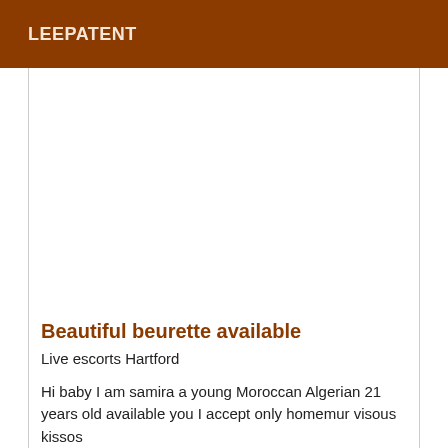LEEPATENT
Beautiful beurette available
Live escorts Hartford
Hi baby I am samira a young Moroccan Algerian 21 years old available you I accept only homemur visous kissos